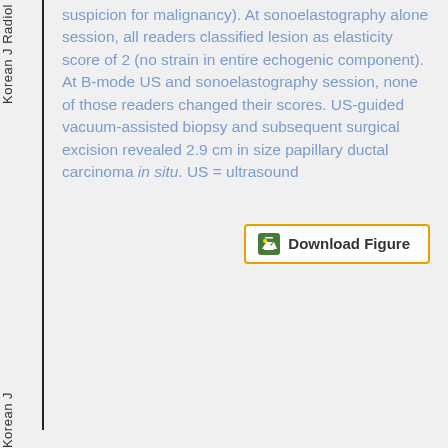suspicion for malignancy). At sonoelastography alone session, all readers classified lesion as elasticity score of 2 (no strain in entire echogenic component). At B-mode US and sonoelastography session, none of those readers changed their scores. US-guided vacuum-assisted biopsy and subsequent surgical excision revealed 2.9 cm in size papillary ductal carcinoma in situ. US = ultrasound
Korean J Radiol